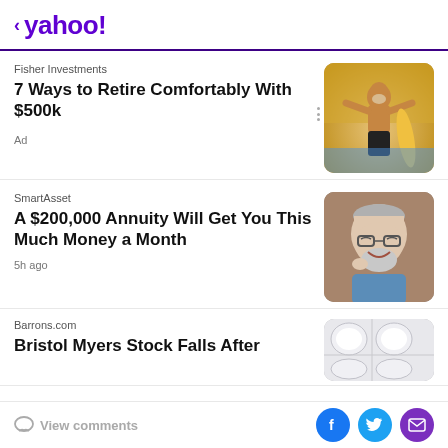< yahoo!
Fisher Investments
7 Ways to Retire Comfortably With $500k
Ad
[Figure (photo): Older shirtless man with surfboard at beach, arms outstretched]
SmartAsset
A $200,000 Annuity Will Get You This Much Money a Month
5h ago
[Figure (photo): Elderly man with glasses and beard laughing, wearing blue shirt]
Barrons.com
Bristol Myers Stock Falls After
[Figure (photo): Pills/tablets in blister packaging]
View comments